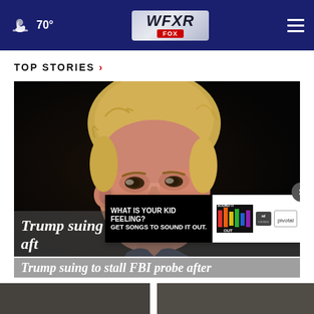70° WFXR FOX
TOP STORIES ›
[Figure (photo): Close-up portrait of Donald Trump against a dark background, looking slightly downward]
Trump suing to stall FBI probe after
[Figure (infographic): Advertisement overlay: 'WHAT IS YOUR KID FEELING? GET SONGS TO SOUND IT OUT.' with Sound It Out, Ad Council, and Pivotal logos. Close button (×) in top-right corner.]